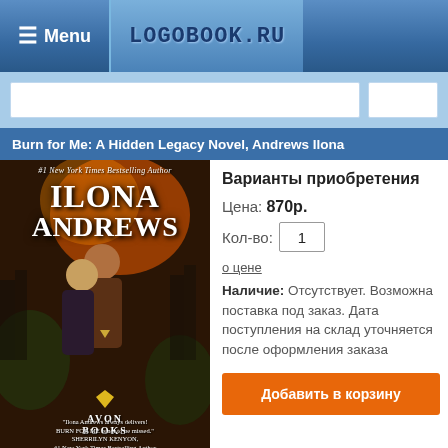☰ Menu   LOGOBOOK.RU
Burn for Me: A Hidden Legacy Novel, Andrews Ilona
[Figure (illustration): Book cover of 'Burn for Me' by Ilona Andrews. Shows a man and woman in front of a fiery city background. Published by Avon Books. Quote by Sherrilyn Kenyon.]
Варианты приобретения
Цена: 870р.
Кол-во: 1
о цене
Наличие: Отсутствует. Возможна поставка под заказ. Дата поступления на склад уточняется после оформления заказа
Добавить в корзину